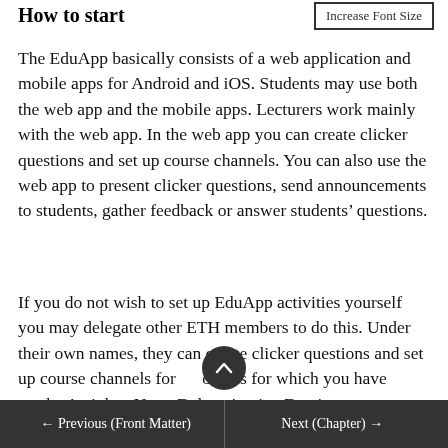How to start
Increase Font Size
The EduApp basically consists of a web application and mobile apps for Android and iOS. Students may use both the web app and the mobile apps. Lecturers work mainly with the web app. In the web app you can create clicker questions and set up course channels. You can also use the web app to present clicker questions, send announcements to students, gather feedback or answer students' questions.
If you do not wish to set up EduApp activities yourself you may delegate other ETH members to do this. Under their own names, they can create clicker questions and set up course channels for courses for which you have teacher's rights. Note: Delegation in eDoz is not
← Previous (Front Matter)    Next (Chapter) →